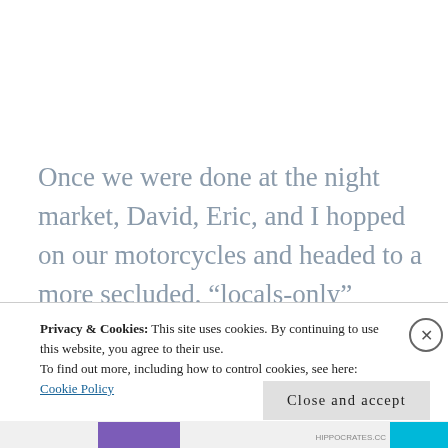Once we were done at the night market, David, Eric, and I hopped on our motorcycles and headed to a more secluded, “locals-only” location to view Taipei 101 and Taipei’s Ferris wheel all at
Privacy & Cookies: This site uses cookies. By continuing to use this website, you agree to their use.
To find out more, including how to control cookies, see here:
Cookie Policy